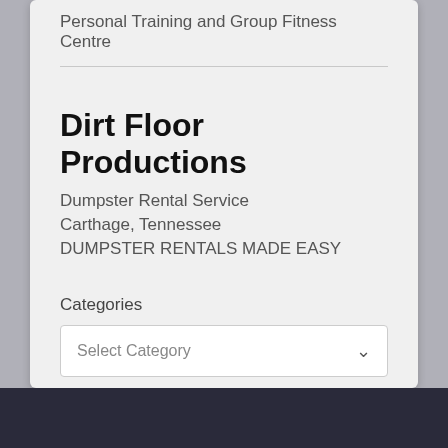Personal Training and Group Fitness Centre
Dirt Floor Productions
Dumpster Rental Service
Carthage, Tennessee
DUMPSTER RENTALS MADE EASY
Categories
Select Category